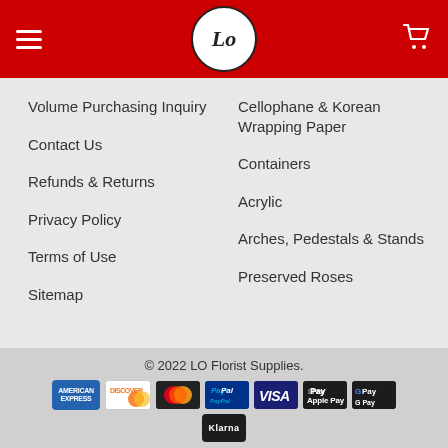[Figure (logo): Red header bar with hamburger menu icon on left, circular LO Florist Supplies logo in center, and shopping cart icon on right]
Volume Purchasing Inquiry
Contact Us
Refunds & Returns
Privacy Policy
Terms of Use
Sitemap
Cellophane & Korean Wrapping Paper
Containers
Acrylic
Arches, Pedestals & Stands
Preserved Roses
© 2022 LO Florist Supplies.
[Figure (other): Payment method icons: American Express, Discover, Mastercard, PayPal, Visa, Apple Pay, Google Pay, Klarna]